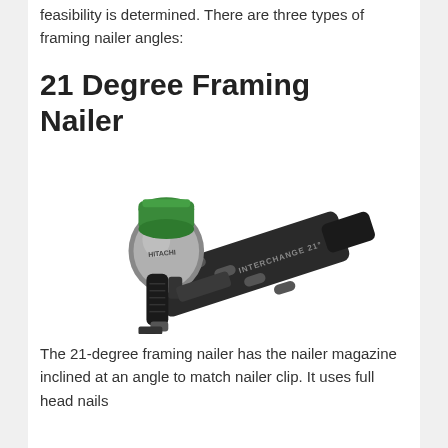feasibility is determined. There are three types of framing nailer angles:
21 Degree Framing Nailer
[Figure (photo): Photo of a 21-degree framing nailer (Interchange 21) with a green top cap, silver body, and black angled magazine, shown at a diagonal angle.]
The 21-degree framing nailer has the nailer magazine inclined at an angle to match nailer clip. It uses full head nails